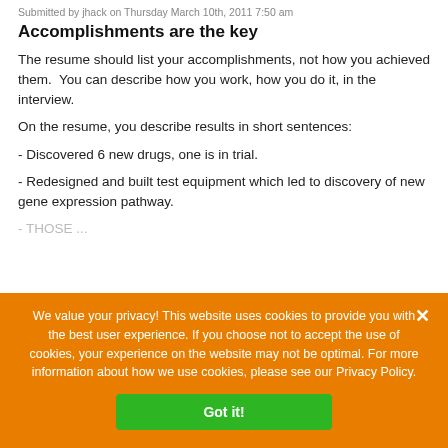Submitted by jhack on Thursday March 10th, 2011 7:50 am
Accomplishments are the key
The resume should list your accomplishments, not how you achieved them.  You can describe how you work, how you do it, in the interview.
On the resume, you describe results in short sentences:
- Discovered 6 new drugs, one is in trial.
- Redesigned and built test equipment which led to discovery of new gene expression pathway.
We value your privacy! This website uses cookies to provide you with the best user experience. If you choose not to accept the use of cookies, your experience on the website may not be optimal. For more information about how we use cookies, please see our Privacy Policy.
Got it!